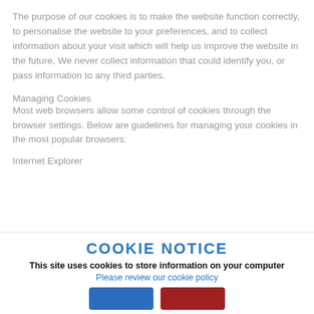The purpose of our cookies is to make the website function correctly, to personalise the website to your preferences, and to collect information about your visit which will help us improve the website in the future. We never collect information that could identify you, or pass information to any third parties.
Managing Cookies
Most web browsers allow some control of cookies through the browser settings. Below are guidelines for managing your cookies in the most popular browsers:
Internet Explorer
COOKIE NOTICE
This site uses cookies to store information on your computer
Please review our cookie policy